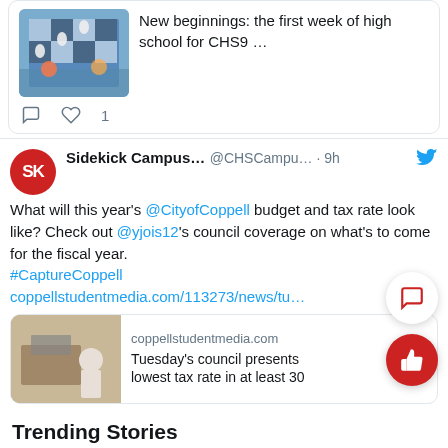[Figure (screenshot): Partial tweet card showing a chess/board game photo and text 'New beginnings: the first week of high school for CHS9 ...' with like count of 1]
[Figure (screenshot): Tweet by Sidekick Campus... (@CHSCampu...) 9h ago: 'What will this year's @CityofCoppell budget and tax rate look like? Check out @yjois12's council coverage on what's to come for the fiscal year. #CaptureCoppell coppellstudentmedia.com/113273/news/tu...' with link card showing coppellstudentmedia.com and 'Tuesday's council presents lowest tax rate in at least 30']
Trending Stories
Giving thanks: Connection through laughter • 407 Views